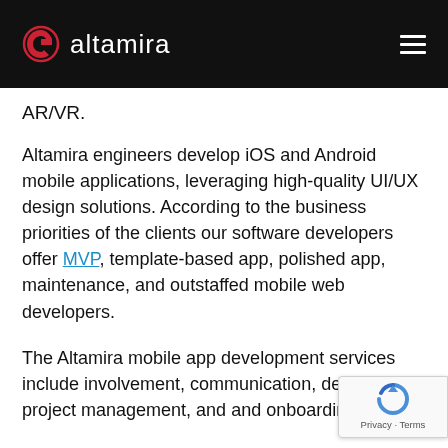altamira
AR/VR.
Altamira engineers develop iOS and Android mobile applications, leveraging high-quality UI/UX design solutions. According to the business priorities of the clients our software developers offer MVP, template-based app, polished app, maintenance, and outstaffed mobile web developers.
The Altamira mobile app development services include involvement, communication, delivery project management, and and onboarding.
[Figure (logo): reCAPTCHA privacy badge with blue circular arrow logo and Privacy - Terms text]